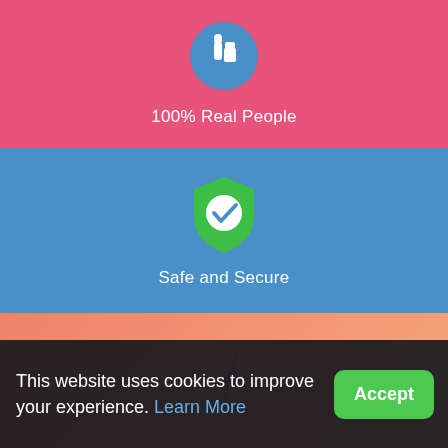[Figure (illustration): Blue circular speech bubble icon with white thumbs-up on pink/coral background]
100% Real People
[Figure (illustration): Green shield with white circle and blue checkmark on blue background]
Safe and Secure
[Figure (illustration): Two pink wine glasses clinking with sparkle on peach/orange gradient background]
A Great Experience
This website uses cookies to improve your experience. Learn More
Accept